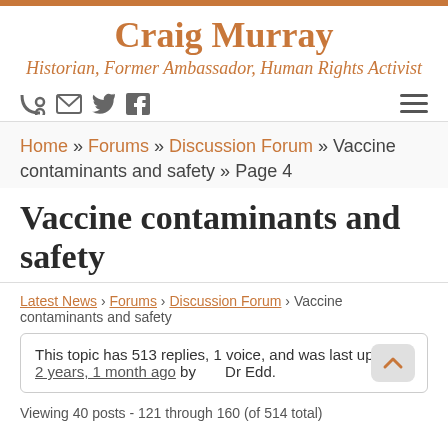Craig Murray
Historian, Former Ambassador, Human Rights Activist
Home » Forums » Discussion Forum » Vaccine contaminants and safety » Page 4
Vaccine contaminants and safety
Latest News › Forums › Discussion Forum › Vaccine contaminants and safety
This topic has 513 replies, 1 voice, and was last updated 2 years, 1 month ago by Dr Edd.
Viewing 40 posts - 121 through 160 (of 514 total)